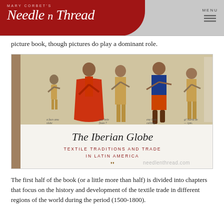Mary Corbett's Needle 'n Thread — MENU
picture book, though pictures do play a dominant role.
[Figure (photo): Photograph of an open book showing 'The Iberian Globe: Textile Traditions and Trade in Latin America' with historical illustrations of figures in traditional dress on the top page and the book title page on the bottom, with a needlenthread.com watermark.]
The first half of the book (or a little more than half) is divided into chapters that focus on the history and development of the textile trade in different regions of the world during the period (1500-1800).